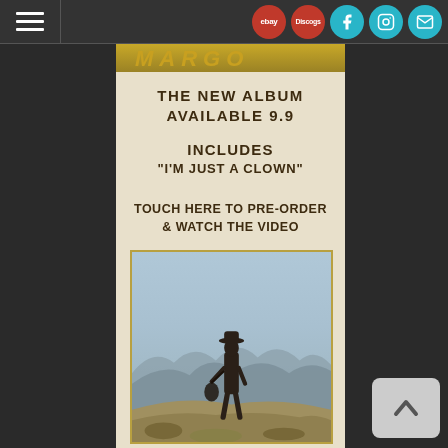Navigation bar with hamburger menu and social icons: ebay, Discogs, Facebook, Instagram, Mail
[Figure (illustration): Gold/olive stylized text logo or title bar at top of main content area]
THE NEW ALBUM
AVAILABLE 9.9
INCLUDES
"I'M JUST A CLOWN"
TOUCH HERE TO PRE-ORDER
& WATCH THE VIDEO
[Figure (photo): Album cover photo: a man in a cowboy hat standing on a rocky hillside overlooking a vast mountain landscape. The figure is in silhouette/dark tones wearing dark clothing, with layered blue-gray mountains in the background.]